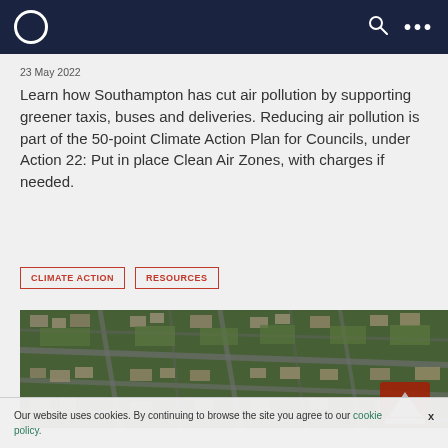Navigation bar with logo, search and menu icons
23 May 2022
Learn how Southampton has cut air pollution by supporting greener taxis, buses and deliveries. Reducing air pollution is part of the 50-point Climate Action Plan for Councils, under Action 22: Put in place Clean Air Zones, with charges if needed.
CLIMATE ACTION
RESOURCES
[Figure (photo): Aerial view of a dense residential area with streets, houses, gardens and some green spaces, showing a red-and-white chevron sign in the lower right corner.]
Our website uses cookies. By continuing to browse the site you agree to our cookie policy.